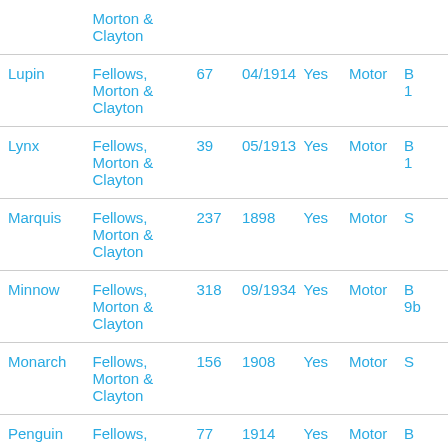| Name | Builder | No. | Date | Yes/No | Type | Extra |
| --- | --- | --- | --- | --- | --- | --- |
|  | Morton & Clayton |  |  |  |  |  |
| Lupin | Fellows, Morton & Clayton | 67 | 04/1914 | Yes | Motor | B... 1... |
| Lynx | Fellows, Morton & Clayton | 39 | 05/1913 | Yes | Motor | B... 1... |
| Marquis | Fellows, Morton & Clayton | 237 | 1898 | Yes | Motor | S... |
| Minnow | Fellows, Morton & Clayton | 318 | 09/1934 | Yes | Motor | B... 9... |
| Monarch | Fellows, Morton & Clayton | 156 | 1908 | Yes | Motor | S... |
| Penguin | Fellows, | 77 | 1914 | Yes | Motor | B... |